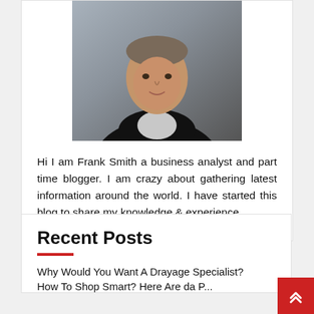[Figure (photo): Headshot of Frank Smith, a man wearing a dark sweater over a collared shirt, gray background.]
Hi I am Frank Smith a business analyst and part time blogger. I am crazy about gathering latest information around the world. I have started this blog to share my knowledge & experience.
Recent Posts
Why Would You Want A Drayage Specialist?
How To Shop Smart? Here Are da P...